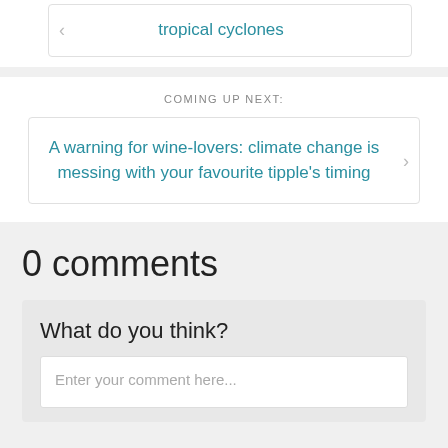tropical cyclones
COMING UP NEXT:
A warning for wine-lovers: climate change is messing with your favourite tipple's timing
0 comments
What do you think?
Enter your comment here...